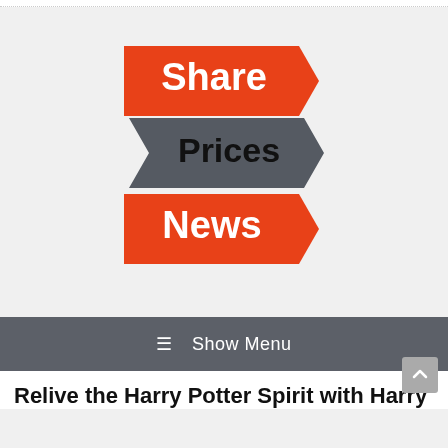[Figure (logo): Share Prices News logo — three arrow/banner shapes stacked vertically: top red banner with white bold text 'Share', middle dark gray arrow with black bold text 'Prices', bottom red arrow with white bold text 'News']
☰  Show Menu
Relive the Harry Potter Spirit with Harry